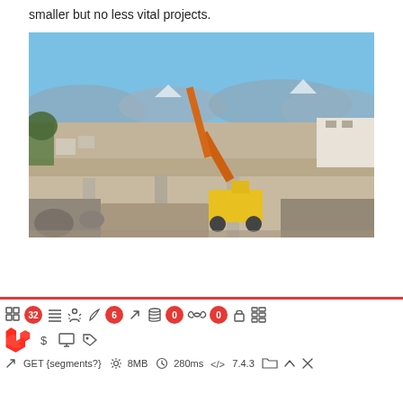smaller but no less vital projects.
[Figure (photo): Aerial/elevated view of a construction site featuring a large orange crane, concrete columns, yellow heavy machinery and equipment, with mountains and open landscape in the background under a clear blue sky.]
[Figure (screenshot): Laravel debug toolbar showing: icons with badges (32, 6, 0, 0), Laravel logo, dollar sign, monitor, tag icons in row 2, and GET {segments?}, 8MB, 280ms, 7.4.3, folder, chevron, and X controls in row 3.]